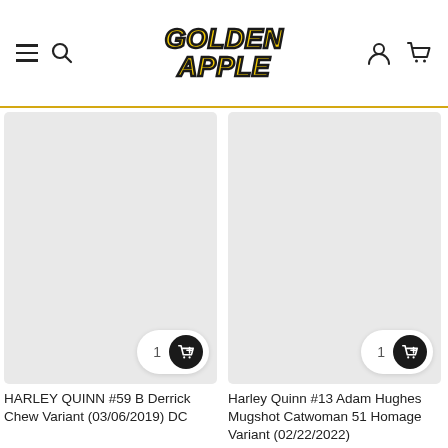Golden Apple - Navigation header with menu, search, logo, account, and cart icons
[Figure (screenshot): Product card image placeholder (light gray) for HARLEY QUINN #59 B Derrick Chew Variant with add-to-cart button]
HARLEY QUINN #59 B Derrick Chew Variant (03/06/2019) DC
[Figure (screenshot): Product card image placeholder (light gray) for Harley Quinn #13 Adam Hughes Mugshot Catwoman 51 Homage Variant with add-to-cart button]
Harley Quinn #13 Adam Hughes Mugshot Catwoman 51 Homage Variant (02/22/2022)